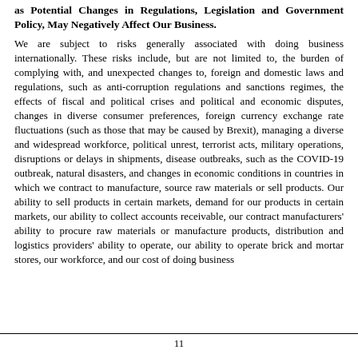as Potential Changes in Regulations, Legislation and Government Policy, May Negatively Affect Our Business.
We are subject to risks generally associated with doing business internationally. These risks include, but are not limited to, the burden of complying with, and unexpected changes to, foreign and domestic laws and regulations, such as anti-corruption regulations and sanctions regimes, the effects of fiscal and political crises and political and economic disputes, changes in diverse consumer preferences, foreign currency exchange rate fluctuations (such as those that may be caused by Brexit), managing a diverse and widespread workforce, political unrest, terrorist acts, military operations, disruptions or delays in shipments, disease outbreaks, such as the COVID-19 outbreak, natural disasters, and changes in economic conditions in countries in which we contract to manufacture, source raw materials or sell products. Our ability to sell products in certain markets, demand for our products in certain markets, our ability to collect accounts receivable, our contract manufacturers' ability to procure raw materials or manufacture products, distribution and logistics providers' ability to operate, our ability to operate brick and mortar stores, our workforce, and our cost of doing business
11